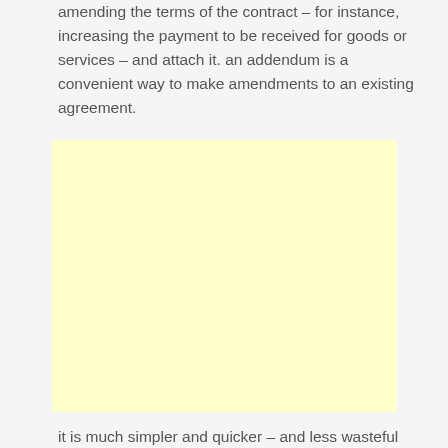amending the terms of the contract – for instance, increasing the payment to be received for goods or services – and attach it. an addendum is a convenient way to make amendments to an existing agreement.
[Figure (other): A blank yellow/cream colored rectangular box, likely an advertisement placeholder.]
it is much simpler and quicker – and less wasteful